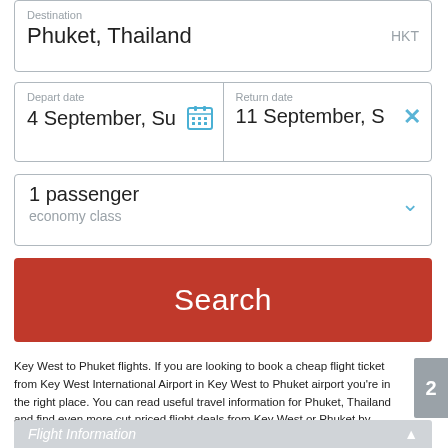Destination
Phuket, Thailand    HKT
Depart date
4 September, Su    [calendar icon]
Return date
11 September, S    [x icon]
1 passenger
economy class
Search
Key West to Phuket flights. If you are looking to book a cheap flight ticket from Key West International Airport in Key West to Phuket airport you're in the right place. You can read useful travel information for Phuket, Thailand and find even more cut-priced flight deals from Key West or Phuket by simply reading the below. Count on PHD for the best deals on all of your travel and bargain priced flight tickets from Key West, Phuket, Thailand and Asia right here.
Flight Information